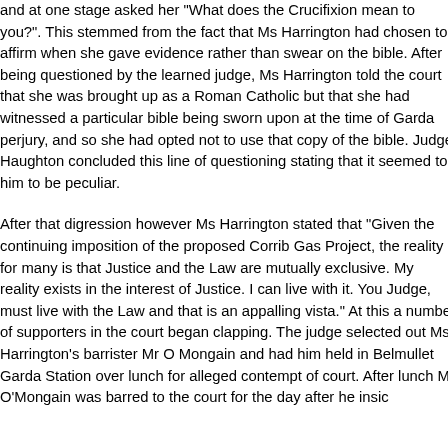and at one stage asked her "What does the Crucifixion mean to you?". This stemmed from the fact that Ms Harrington had chosen to affirm when she gave evidence rather than swear on the bible. After being questioned by the learned judge, Ms Harrington told the court that she was brought up as a Roman Catholic but that she had witnessed a particular bible being sworn upon at the time of Garda perjury, and so she had opted not to use that copy of the bible. Judge Haughton concluded this line of questioning stating that it seemed to him to be peculiar.
After that digression however Ms Harrington stated that "Given the continuing imposition of the proposed Corrib Gas Project, the reality for many is that Justice and the Law are mutually exclusive. My reality exists in the interest of Justice. I can live with it. You Judge, must live with the Law and that is an appalling vista." At this a number of supporters in the court began clapping. The judge selected out Ms Harrington's barrister Mr O Mongain and had him held in Belmullet Garda Station over lunch for alleged contempt of court. After lunch Mr O'Mongain was barred from returning to the court for the day after he insis...